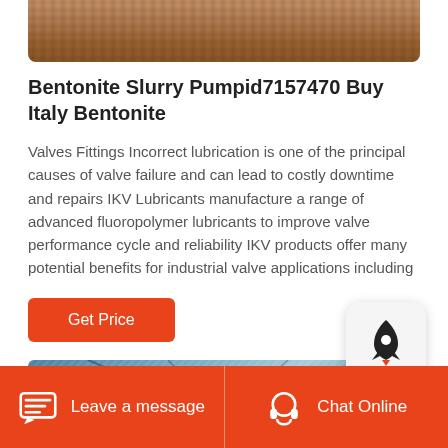[Figure (photo): Brown textured surface (sand or bentonite material) at the top of the page]
Bentonite Slurry Pumpid7157470 Buy Italy Bentonite
Valves Fittings Incorrect lubrication is one of the principal causes of valve failure and can lead to costly downtime and repairs IKV Lubricants manufacture a range of advanced fluoropolymer lubricants to improve valve performance cycle and reliability IKV products offer many potential benefits for industrial valve applications including
[Figure (other): Orange/red Get Price button]
[Figure (photo): Glass roof or greenhouse structure with geometric steel frames visible from below]
Leave a message   Chat Online